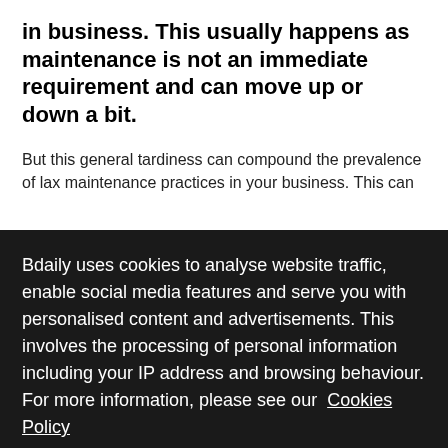in business. This usually happens as maintenance is not an immediate requirement and can move up or down a bit.
But this general tardiness can compound the prevalence of lax maintenance practices in your business. This can ...estroy ...Every ...ance ...y advantages to business operations and alleviates tasks for
Bdaily uses cookies to analyse website traffic, enable social media features and serve you with personalised content and advertisements. This involves the processing of personal information including your IP address and browsing behaviour. For more information, please see our Cookies Policy
I ACCEPT